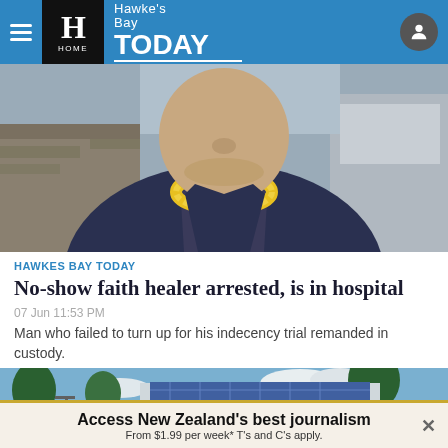Hawke's Bay TODAY
[Figure (photo): Close-up photo of a person wearing a yellow floral lei/garland and a dark blazer over a white shirt, outdoors near a stone building]
HAWKES BAY TODAY
No-show faith healer arrested, is in hospital
07 Jun 11:53 PM
Man who failed to turn up for his indecency trial remanded in custody.
[Figure (photo): Exterior photo of a modern building with solar panels on the roof, trees in front, under a blue sky with clouds]
Access New Zealand's best journalism From $1.99 per week* T's and C's apply.